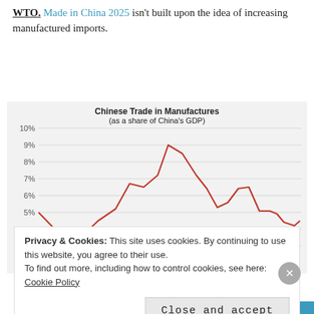WTO. Made in China 2025 isn't built upon the idea of increasing manufactured imports.
[Figure (continuous-plot): Line chart showing Chinese Trade in Manufactures as a share of China's GDP. Y-axis ranges from 3% to 10%. The line starts around 5%, dips to about 3.5%, rises steeply to a peak near 9%, then declines with fluctuations to around 4.5% at the right end.]
Privacy & Cookies: This site uses cookies. By continuing to use this website, you agree to their use.
To find out more, including how to control cookies, see here: Cookie Policy
Close and accept